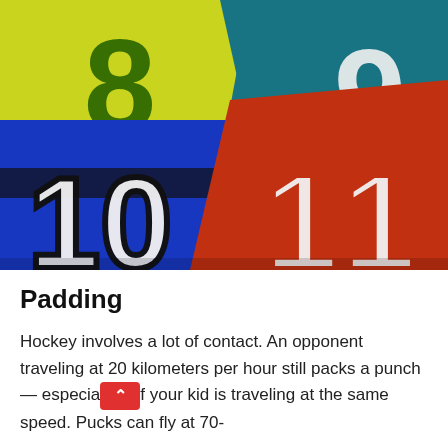[Figure (photo): A close-up photo of multiple sports jerseys overlaid on each other showing numbers 8, 9, 10, and 11. The jerseys are yellow/green, teal, blue/black, and red/orange colored.]
Padding
Hockey involves a lot of contact. An opponent traveling at 20 kilometers per hour still packs a punch — especially if your kid is traveling at the same speed. Pucks can fly at 70-